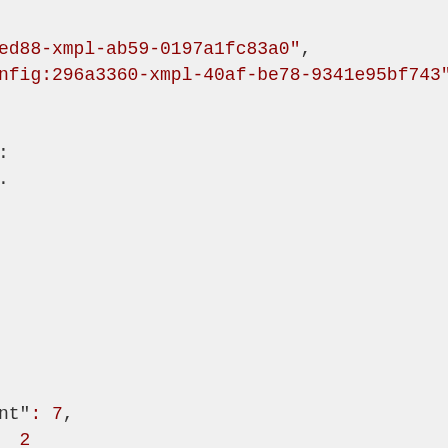ed88-xmpl-ab59-0197a1fc83a0",
nfig:296a3360-xmpl-40af-be78-9341e95bf743",


:
.






nt": 7,
  2

"arn:aws:iam::123456789012:role/AWSCloudFormation

SCloudFormationStackSetExecutionRole",